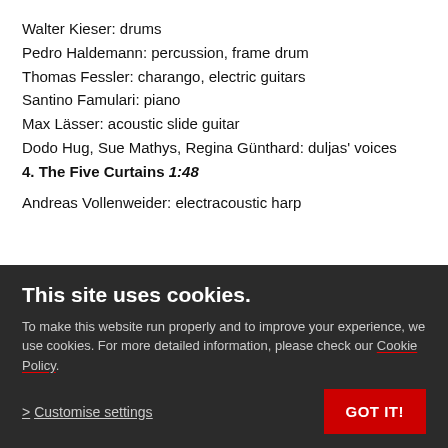Walter Kieser: drums
Pedro Haldemann: percussion, frame drum
Thomas Fessler: charango, electric guitars
Santino Famulari: piano
Max Lässer: acoustic slide guitar
Dodo Hug, Sue Mathys, Regina Günthard: duljas' voices
4. The Five Curtains 1:48
Andreas Vollenweider: electracoustic harp
This site uses cookies.
To make this website run properly and to improve your experience, we use cookies. For more detailed information, please check our Cookie Policy.
> Customise settings
GOT IT!